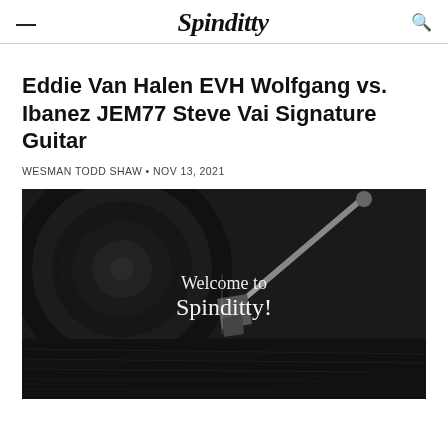Spinditty
Eddie Van Halen EVH Wolfgang vs. Ibanez JEM77 Steve Vai Signature Guitar
WESMAN TODD SHAW • NOV 13, 2021
[Figure (photo): Black and white photo of a vinyl record with a turntable needle, with white text overlay reading 'Welcome to Spinditty!']